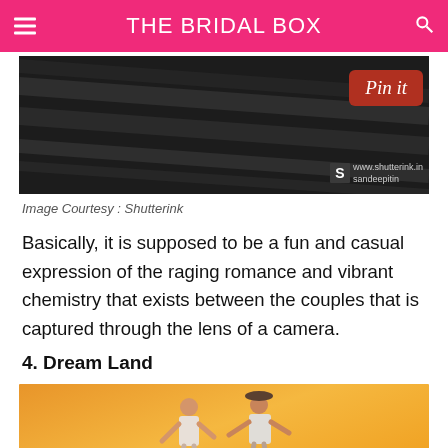THE BRIDAL BOX
[Figure (photo): Dark photograph with diagonal stripes, overlaid with a Pinterest 'Pin it' button and Shutterink watermark]
Image Courtesy : Shutterink
Basically, it is supposed to be a fun and casual expression of the raging romance and vibrant chemistry that exists between the couples that is captured through the lens of a camera.
4. Dream Land
[Figure (photo): Couple on orange/warm gradient background, one wearing a hat, in a playful pose]